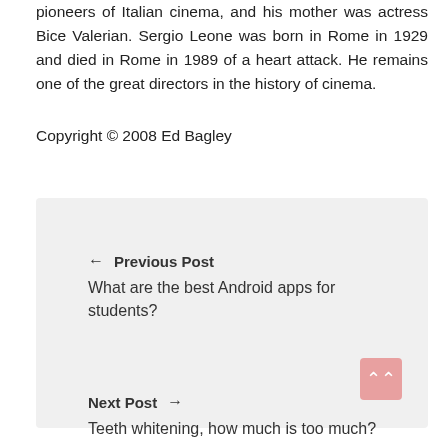pioneers of Italian cinema, and his mother was actress Bice Valerian. Sergio Leone was born in Rome in 1929 and died in Rome in 1989 of a heart attack. He remains one of the great directors in the history of cinema.
Copyright © 2008 Ed Bagley
← Previous Post
What are the best Android apps for students?
Next Post →
Teeth whitening, how much is too much?